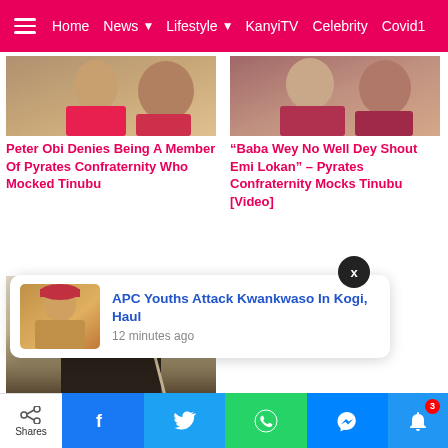≡  Home  News ▾  Lifestyle ▾  KanyiTV  Celebrity  Covid1
[Figure (photo): Partial photo of Peter Obi]
Peter Obi Denies Being A Member Of Pyrates Confraternity Who Mocked Tinubu
[Figure (photo): Partial photo of person at Baba Wey article]
“Baba Wey No Well Dey Shout Emi Lokan” – Pyrates Confraternity Mocks Tinubu [Video]
[Figure (photo): Man in dark shirt at microphone – Tinubu Is Easiest Candidate article]
2023: Tinubu Is Easiest Candidate To Sell, He'll Rule Nigeria Exactly Like Buhari –
APC Youths Attack Kwankwaso In Kogi, Haul
12 minutes ago